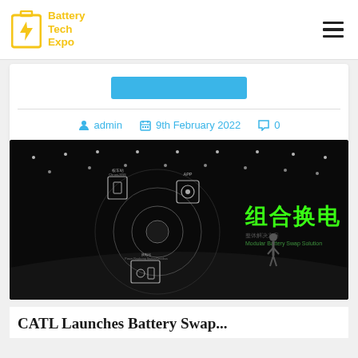Battery Tech Expo
admin  9th February 2022  0
[Figure (photo): Dark stage presentation showing a circular diagram with Chinese text '组合换电' (Modular Battery Swap Solution) with glowing green characters on the right side, and icons/labels including APP and station icons on the left within concentric circles. A presenter stands on stage.]
CATL Launches Battery Swap...